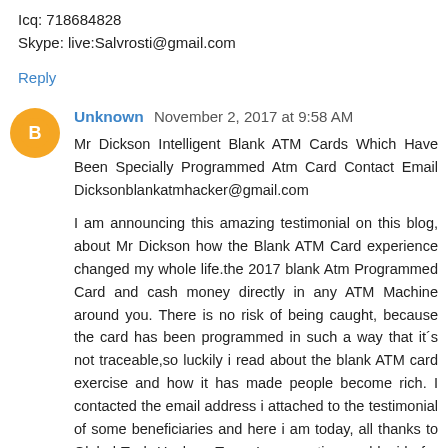Icq: 718684828
Skype: live:Salvrosti@gmail.com
Reply
Unknown  November 2, 2017 at 9:58 AM
Mr Dickson Intelligent Blank ATM Cards Which Have Been Specially Programmed Atm Card Contact Email Dicksonblankatmhacker@gmail.com

I am announcing this amazing testimonial on this blog, about Mr Dickson how the Blank ATM Card experience changed my whole life.the 2017 blank Atm Programmed Card and cash money directly in any ATM Machine around you. There is no risk of being caught, because the card has been programmed in such a way that it´s not traceable,so luckily i read about the blank ATM card exercise and how it has made people become rich. I contacted the email address i attached to the testimonial of some beneficiaries and here i am today, all thanks to Global Tech Hackers Team Incorporation world wide for helping me with a blank